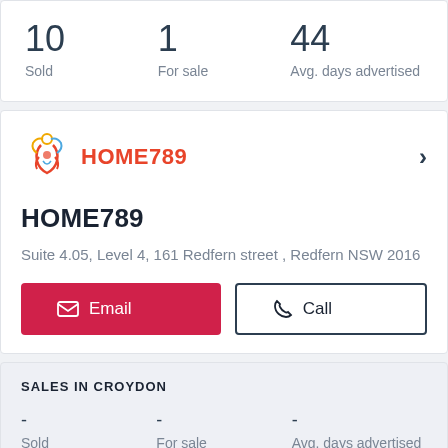10 Sold
1 For sale
44 Avg. days advertised
[Figure (logo): HOME789 logo with stylized figure and colorful swirls]
HOME789
Suite 4.05, Level 4, 161 Redfern street , Redfern NSW 2016
Email
Call
SALES IN CROYDON
- Sold
- For sale
- Avg. days advertised